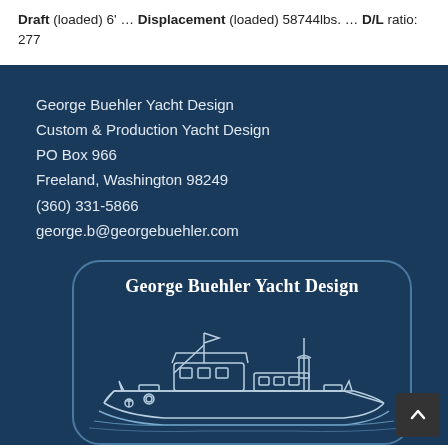Draft (loaded) 6' ... Displacement (loaded) 58744lbs. ... D/L ratio: 277
George Buehler Yacht Design
Custom & Production Yacht Design
PO Box 966
Freeland, Washington 98249
(360) 331-5866
george.b@georgebuehler.com
[Figure (logo): George Buehler Yacht Design logo with rounded rectangle border and a line-art illustration of a trawler/motor yacht boat, white on dark blue background]